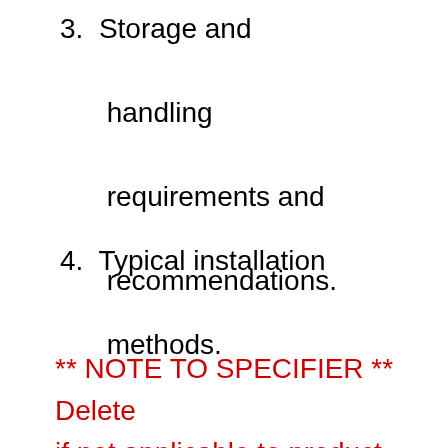3.  Storage and handling requirements and recommendations.
4.  Typical installation methods.
** NOTE TO SPECIFIER ** Delete if not applicable to product type.